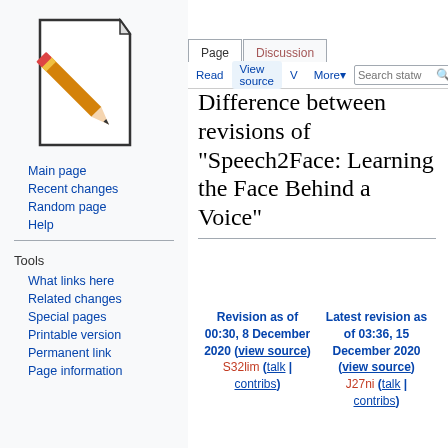Log in  Request account
[Figure (illustration): Wikipedia-style pencil and paper logo icon in the sidebar]
Main page
Recent changes
Random page
Help
Tools
What links here
Related changes
Special pages
Printable version
Permanent link
Page information
Difference between revisions of "Speech2Face: Learning the Face Behind a Voice"
| Revision as of 00:30, 8 December 2020 (view source) | Latest revision as of 03:36, 15 December 2020 (view source) |
| --- | --- |
| S32lim (talk | contribs) | J27ni (talk | contribs) |